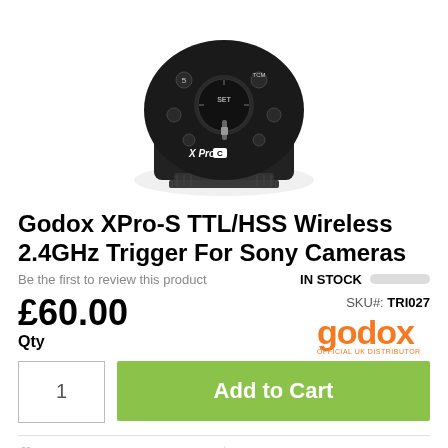[Figure (photo): Godox XPro-C wireless flash trigger device shown from top, black with buttons and dial, 'X Pro C' branding visible]
Godox XPro-S TTL/HSS Wireless 2.4GHz Trigger For Sony Cameras
Be the first to review this product   IN STOCK
£60.00
Qty
SKU#: TRI027
[Figure (logo): Godox orange logo with text 'OFFICIAL UK DISTRIBUTOR']
1
Add to Cart
Add to Wish List   Add to Compare